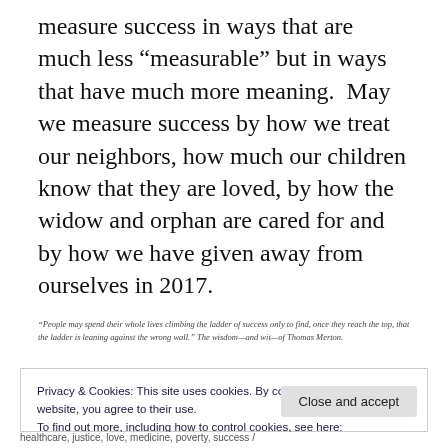measure success in ways that are much less “measurable” but in ways that have much more meaning.  May we measure success by how we treat our neighbors, how much our children know that they are loved, by how the widow and orphan are cared for and by how we have given away from ourselves in 2017.
“People may spend their whole lives climbing the ladder of success only to find, once they reach the top, that the ladder is leaning against the wrong wall.” The wisdom—and wit—of Thomas Merton.
Privacy & Cookies: This site uses cookies. By continuing to use this website, you agree to their use.
To find out more, including how to control cookies, see here:
Cookie Policy
Close and accept
healthcare, justice, love, medicine, poverty, success /